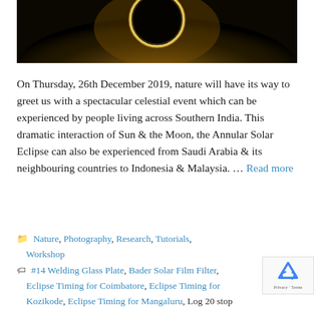[Figure (photo): Annular solar eclipse photo — a glowing ring of sunlight visible against a dark sky with golden haze and corona]
On Thursday, 26th December 2019, nature will have its way to greet us with a spectacular celestial event which can be experienced by people living across Southern India. This dramatic interaction of Sun & the Moon, the Annular Solar Eclipse can also be experienced from Saudi Arabia & its neighbouring countries to Indonesia & Malaysia. … Read more
Nature, Photography, Research, Tutorials, Workshop
#14 Welding Glass Plate, Bader Solar Film Filter, Eclipse Timing for Coimbatore, Eclipse Timing for Kozikode, Eclipse Timing for Mangaluru, Log 20 stop